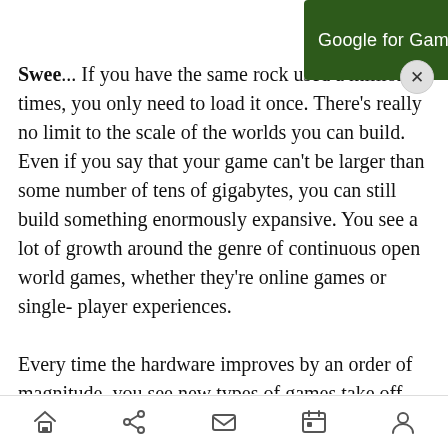[Figure (screenshot): Google for Games advertisement banner with dark green background, white text 'Google for Games' and yellow 'Read now' button]
Swee... If you have the same rock used a million times, you only need to load it once. There's really no limit to the scale of the worlds you can build. Even if you say that your game can't be larger than some number of tens of gigabytes, you can still build something enormously expansive. You see a lot of growth around the genre of continuous open world games, whether they're online games or single-player experiences.

Every time the hardware improves by an order of magnitude, you see new types of games take off. Battle royale only took off in this generation because you finally had enough processing power
[Figure (screenshot): Mobile browser bottom navigation bar with home, share, mail, calendar, and profile icons]